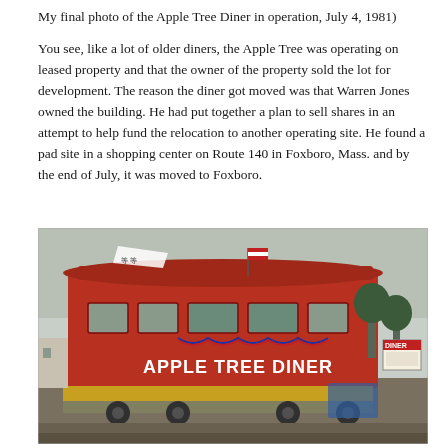My final photo of the Apple Tree Diner in operation, July 4, 1981)
You see, like a lot of older diners, the Apple Tree was operating on leased property and that the owner of the property sold the lot for development. The reason the diner got moved was that Warren Jones owned the building. He had put together a plan to sell shares in an attempt to help fund the relocation to another operating site. He found a pad site in a shopping center on Route 140 in Foxboro, Mass. and by the end of July, it was moved to Foxboro.
[Figure (photo): Vintage photograph of the Apple Tree Diner, a red railcar-style diner decorated with patriotic bunting and an American flag, being transported on a flatbed truck in a parking lot. A sign reading 'APPLE TREE DINER' is visible on the side of the building. A Diner sign is visible in the background on the right.]